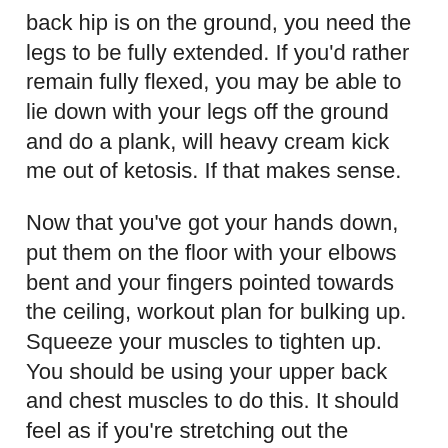back hip is on the ground, you need the legs to be fully extended. If you'd rather remain fully flexed, you may be able to lie down with your legs off the ground and do a plank, will heavy cream kick me out of ketosis. If that makes sense.
Now that you've got your hands down, put them on the floor with your elbows bent and your fingers pointed towards the ceiling, workout plan for bulking up. Squeeze your muscles to tighten up. You should be using your upper back and chest muscles to do this. It should feel as if you're stretching out the muscles of your shoulders, buy anabolic steroids in australia. Squeeze tight, and your arms will be locked. If you're doing the plank, move your feet outwards from your knees, and make sure the toes of your feet are pointing away from the wall, buy anabolic steroids in australia.